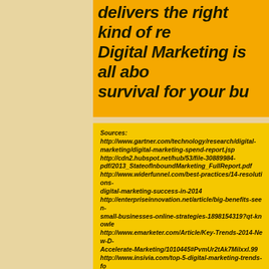delivers the right kind of re... Digital Marketing is all abo... survival for your bu...
Sources: http://www.gartner.com/technology/research/digital-marketing/digital-marketing-spend-report.jsp http://cdn2.hubspot.net/hub/53/file-30889984-pdf/2013_StateofInboundMarketing_FullReport.pdf http://www.widerfunnel.com/best-practices/14-resolutions-digital-marketing-success-in-2014 http://enterpriseinnovation.net/article/big-benefits-seen-small-businesses-online-strategies-1898154319?qt-knowle http://www.emarketer.com/Article/Key-Trends-2014-New-D-Accelerate-Marketing/1010445#PvmUr2tAk7Milxxl.99 http://www.insivia.com/top-5-digital-marketing-trends-fo http://www.forbes.com/sites/ekaterinawaltер/2013/12/17/digital-trends-and-predictions-from-marketing-thought-le http://www.mediapost.com/publications/?fa=Articles.show http://www.fi.nielsen.com/site/documents/NielsenTrustinA012.pdf http://gigaom.com/2011/10/13/internet-of-things-will-hav http://digitalmarketingphilippines.com/blog